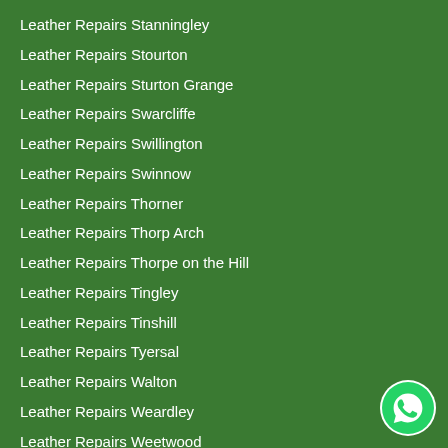Leather Repairs Stanningley
Leather Repairs Stourton
Leather Repairs Sturton Grange
Leather Repairs Swarcliffe
Leather Repairs Swillington
Leather Repairs Swinnow
Leather Repairs Thorner
Leather Repairs Thorp Arch
Leather Repairs Thorpe on the Hill
Leather Repairs Tingley
Leather Repairs Tinshill
Leather Repairs Tyersal
Leather Repairs Walton
Leather Repairs Weardley
Leather Repairs Weetwood
Leather Repairs West Ardsley
[Figure (logo): WhatsApp contact button icon — green circle with white phone handset]